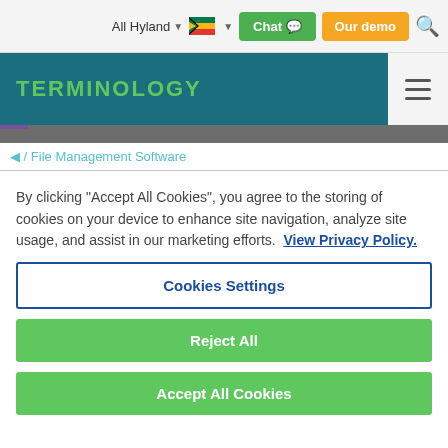All Hyland  Chat  Our demo
TERMINOLOGY
/ File Management Software
By clicking "Accept All Cookies", you agree to the storing of cookies on your device to enhance site navigation, analyze site usage, and assist in our marketing efforts. View Privacy Policy.
Cookies Settings
Reject All
Accept All Cookies